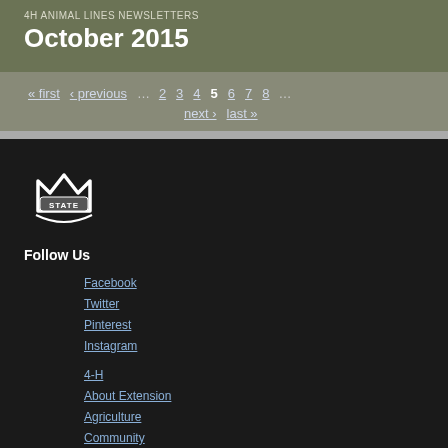4H ANIMAL LINES NEWSLETTERS
October 2015
« first ‹ previous … 2 3 4 5 6 7 8 … next › last »
[Figure (logo): Mississippi State University M STATE logo in white on dark background]
Follow Us
Facebook
Twitter
Pinterest
Instagram
4-H
About Extension
Agriculture
Community